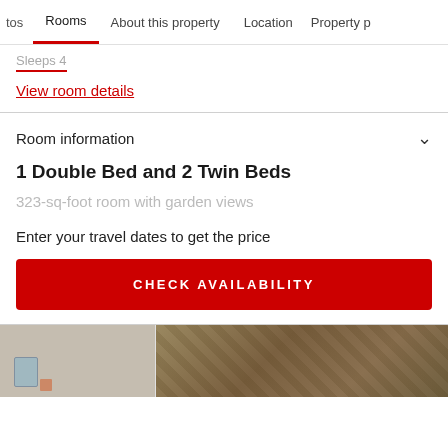tos   Rooms   About this property   Location   Property p
Sleeps 4
View room details
Room information
1 Double Bed and 2 Twin Beds
323-sq-foot room with garden views
Enter your travel dates to get the price
CHECK AVAILABILITY
[Figure (photo): Interior photo of a hotel room showing furniture and decorative wallpaper]